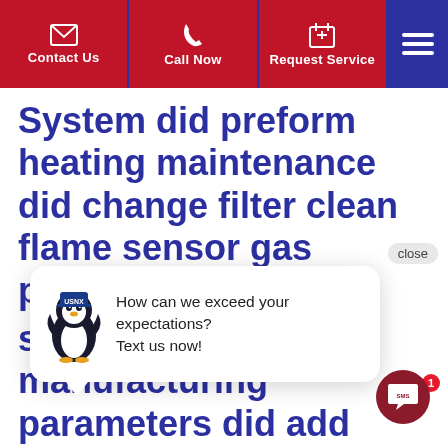Contact Us | Call Now | Request Service
System did preform heating maintenance did change filter clean flame sensor gas pressure 3.44
[Figure (infographic): Chat popup with penguin mascot. Text: How can we exceed your expectations? Text us now!]
safety and manufacturing parameters did add surge protection to furnace